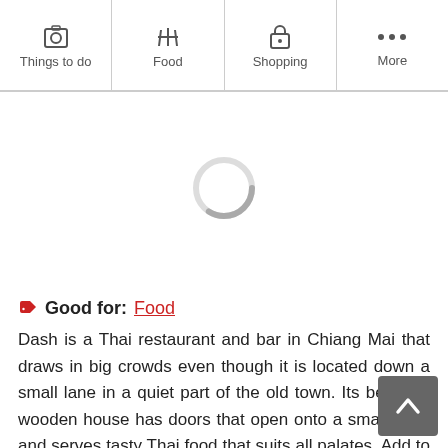Things to do | Food | Shopping | More
[Figure (screenshot): Loading spinner (circular progress indicator) on a white background]
Good for: Food
Dash is a Thai restaurant and bar in Chiang Mai that draws in big crowds even though it is located down a small lane in a quiet part of the old town. Its beautiful wooden house has doors that open onto a small patio and serves tasty Thai food that suits all palates. Add to this the live band that plays in the